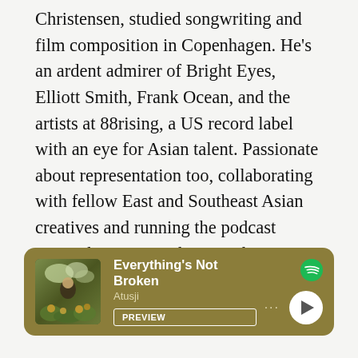Christensen, studied songwriting and film composition in Copenhagen. He's an ardent admirer of Bright Eyes, Elliott Smith, Frank Ocean, and the artists at 88rising, a US record label with an eye for Asian talent. Passionate about representation too, collaborating with fellow East and Southeast Asian creatives and running the podcast Denmāku, Atusji is keen to shine a spotlight on diaspora experiences in Denmark.
[Figure (other): Spotify music player card with olive/dark yellow background showing the song 'Everything's Not Broken' by Atusji, with album art, PREVIEW button, dots menu, and play button.]